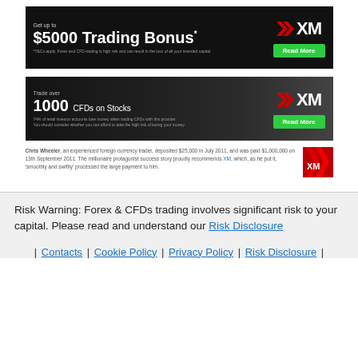[Figure (illustration): XM Trading banner ad: Get up to $5000 Trading Bonus* with XM logo and Read More button on dark background]
[Figure (illustration): XM Trading banner ad: Trade over 1000 CFDs on Stocks with XM logo and Read More button on dark background]
[Figure (illustration): XM testimonial: Chris Wheeler, an experienced foreign currency trader, deposited $25,000 in July 2011, and was paid $1,000,000 on 13th September 2011. The millionaire protagonist success story proudly recommends XM, which, as he put it, 'smoothly and swiftly' processed the large payment to him. With XM logo thumbnail.]
Risk Warning: Forex & CFDs trading involves significant risk to your capital. Please read and understand our Risk Disclosure
| Contacts | Cookie Policy | Privacy Policy | Risk Disclosure |